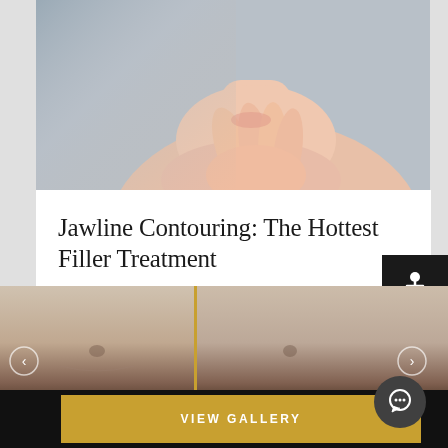[Figure (photo): Close-up photo of a woman's face and neck/chin area with hand touching chin, gray background]
Jawline Contouring: The Hottest Filler Treatment
There are two reasons to get jawline contouring with filler. The first is as part of a comprehensive facial rejuvenation plan. This would normally include
READ MORE
[Figure (photo): Before and after popup showing torso/abdomen comparison images with a gold divider line, navigation arrows, and a dot indicator. Black background popup with close X button.]
VIEW GALLERY
[Figure (photo): Close-up photo of a woman's face/chin/lips area with hands touching jaw, pink/peach tones]
[Figure (other): Accessibility wheelchair icon button in black square, top right]
[Figure (other): Chat bubble button, dark circle with speech bubble icon, bottom right]